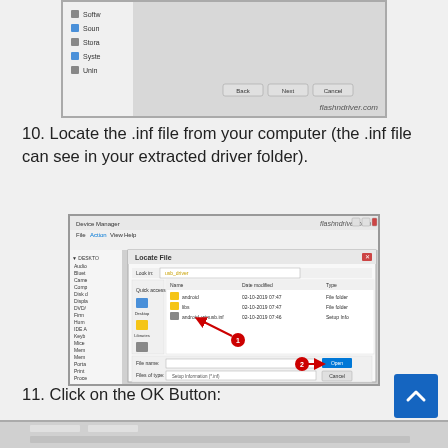[Figure (screenshot): Top portion of a Device Manager window screenshot showing a file tree with items like Softw, Sound, Store, Syste, Unin and buttons at bottom right. Watermark: flashndriver.com]
10. Locate the .inf file from your computer (the .inf file can see in your extracted driver folder).
[Figure (screenshot): Device Manager window with an open 'Locate File' dialog. The dialog shows usb_driver folder contents with android, libs, and android_winusb.inf entries. A red arrow with number 1 points to the .inf file. A red arrow with number 2 points to the Open button. Watermark: flashndriver.com]
11. Click on the OK Button:
[Figure (screenshot): Bottom portion of another screenshot partially visible at the bottom of the page.]